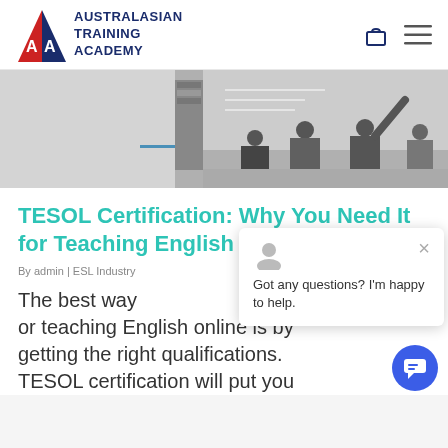Australasian Training Academy
[Figure (photo): Black and white photo of students writing on a blackboard in a classroom]
TESOL Certification: Why You Need It for Teaching English Abroad in 2022
By admin | ESL Industry
The best way or teaching English online is by getting the right qualifications. TESOL certification will put you